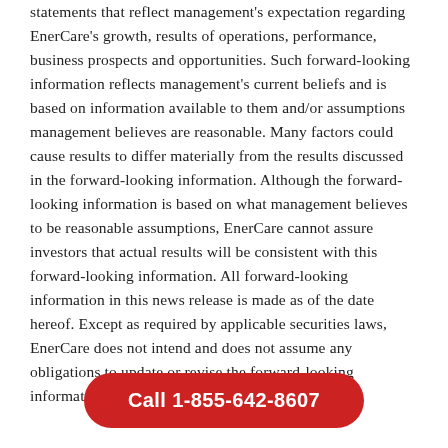statements that reflect management's expectation regarding EnerCare's growth, results of operations, performance, business prospects and opportunities. Such forward-looking information reflects management's current beliefs and is based on information available to them and/or assumptions management believes are reasonable. Many factors could cause results to differ materially from the results discussed in the forward-looking information. Although the forward-looking information is based on what management believes to be reasonable assumptions, EnerCare cannot assure investors that actual results will be consistent with this forward-looking information. All forward-looking information in this news release is made as of the date hereof. Except as required by applicable securities laws, EnerCare does not intend and does not assume any obligations to update or revise the forward-looking information, whether as a result of
Call 1-855-642-8607